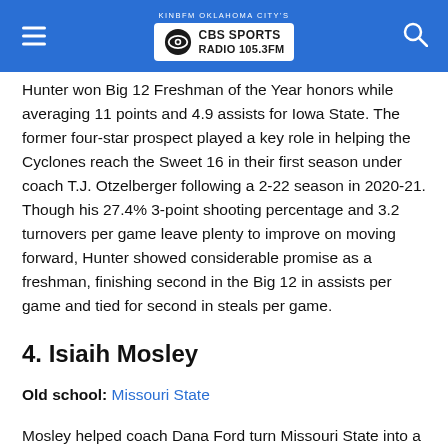KINBFM OKLAHOMA CITY'S CBS SPORTS RADIO 105.3FM
Hunter won Big 12 Freshman of the Year honors while averaging 11 points and 4.9 assists for Iowa State. The former four-star prospect played a key role in helping the Cyclones reach the Sweet 16 in their first season under coach T.J. Otzelberger following a 2-22 season in 2020-21. Though his 27.4% 3-point shooting percentage and 3.2 turnovers per game leave plenty to improve on moving forward, Hunter showed considerable promise as a freshman, finishing second in the Big 12 in assists per game and tied for second in steals per game.
4. Isiaih Mosley
Old school: Missouri State
Mosley helped coach Dana Ford turn Missouri State into a